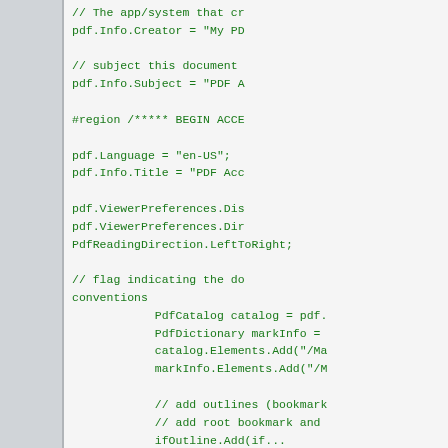[Figure (screenshot): Code editor screenshot showing C# code for PDF document creation with accessibility settings. Left side has a gray sidebar panel. Right side shows green monospace code including pdf.Info.Creator, pdf.Info.Subject, #region BEGIN ACCE..., pdf.Language, pdf.Info.Title, pdf.ViewerPreferences.Dis..., pdf.ViewerPreferences.Dir... PdfReadingDirection.LeftToRight, comment about flag indicating the do... conventions, PdfCatalog catalog = pdf., PdfDictionary markInfo =, catalog.Elements.Add("/Ma..."), markInfo.Elements.Add("/M..."), comment add outlines (bookmark...), comment add root bookmark and..., and a partial line.]